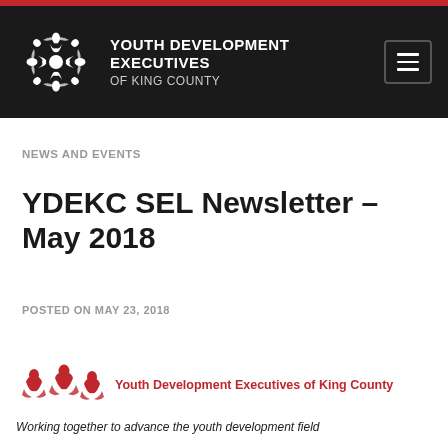[Figure (logo): Youth Development Executives of King County white logo on dark header with menu button]
NEWS AND EVENTS
YDEKC SEL Newsletter – May 2018
POSTED ON MAY 23, 2018
[Figure (logo): Youth Development Executives of King County red logo with organization name in red]
Working together to advance the youth development field